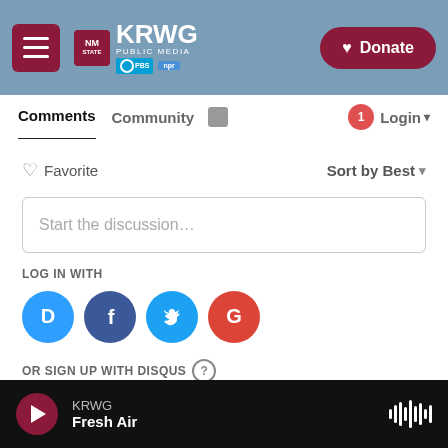[Figure (screenshot): KRWG Public Media header with NM State logo, hamburger menu button, and Donate button]
Comments   Community   Login
♡ Favorite   Sort by Best ▾
Start the discussion…
LOG IN WITH
[Figure (logo): Social login icons: Disqus (D), Facebook (f), Twitter bird, Google (G)]
OR SIGN UP WITH DISQUS ?
Name
KRWG  Fresh Air  ▶